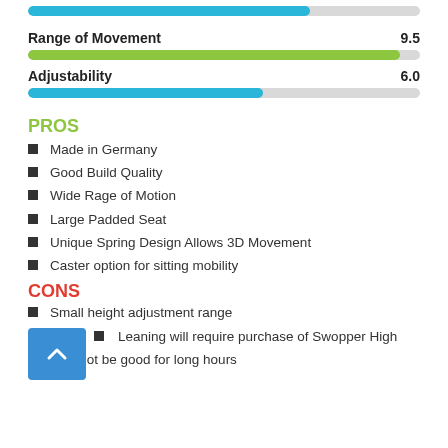[Figure (bar-chart): Range of Movement]
[Figure (bar-chart): Adjustability]
PROS
Made in Germany
Good Build Quality
Wide Rage of Motion
Large Padded Seat
Unique Spring Design Allows 3D Movement
Caster option for sitting mobility
CONS
Small height adjustment range
Leaning will require purchase of Swopper High
May not be good for long hours